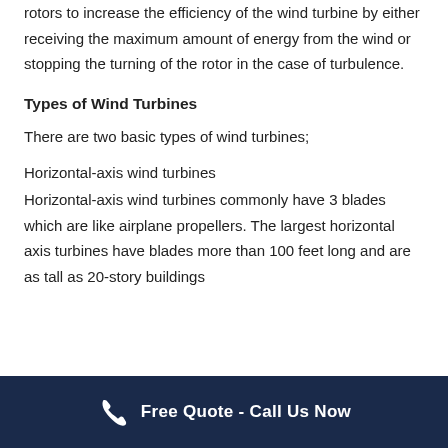rotors to increase the efficiency of the wind turbine by either receiving the maximum amount of energy from the wind or stopping the turning of the rotor in the case of turbulence.
Types of Wind Turbines
There are two basic types of wind turbines;
Horizontal-axis wind turbines
Horizontal-axis wind turbines commonly have 3 blades which are like airplane propellers. The largest horizontal axis turbines have blades more than 100 feet long and are as tall as 20-story buildings
Free Quote - Call Us Now